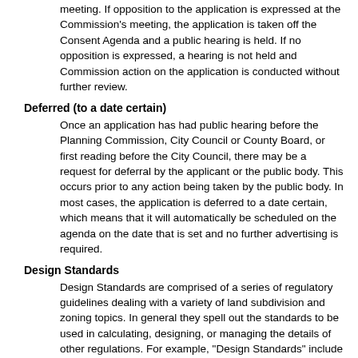meeting. If opposition to the application is expressed at the Commission's meeting, the application is taken off the Consent Agenda and a public hearing is held. If no opposition is expressed, a hearing is not held and Commission action on the application is conducted without further review.
Deferred (to a date certain)
Once an application has had public hearing before the Planning Commission, City Council or County Board, or first reading before the City Council, there may be a request for deferral by the applicant or the public body. This occurs prior to any action being taken by the public body. In most cases, the application is deferred to a date certain, which means that it will automatically be scheduled on the agenda on the date that is set and no further advertising is required.
Design Standards
Design Standards are comprised of a series of regulatory guidelines dealing with a variety of land subdivision and zoning topics. In general they spell out the standards to be used in calculating, designing, or managing the details of other regulations. For example, "Design Standards" include rules for determining the size of water mains, the maximum number of dwelling units which can be built in certain developments, the location of street trees, and the layout of parking lots.